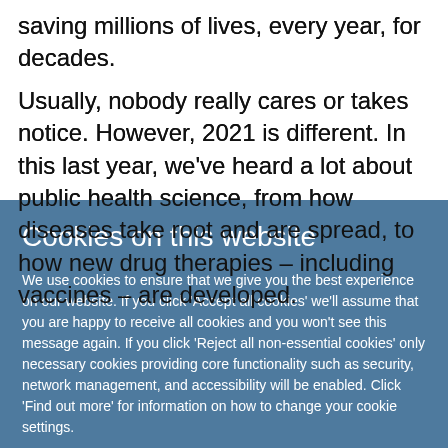saving millions of lives, every year, for decades.
Usually, nobody really cares or takes notice. However, 2021 is different. In this last year, we've heard a lot about public health science, from how diseases take root and are spread, to how new drug therapies – including vaccines – are developed.
Cookies on this website
We use cookies to ensure that we give you the best experience on our website. If you click 'Accept all cookies' we'll assume that you are happy to receive all cookies and you won't see this message again. If you click 'Reject all non-essential cookies' only necessary cookies providing core functionality such as security, network management, and accessibility will be enabled. Click 'Find out more' for information on how to change your cookie settings.
Accept all cookies
Reject all non-essential cookies